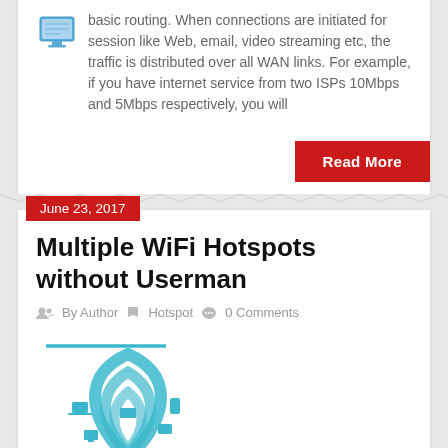basic routing. When connections are initiated for session like Web, email, video streaming etc, the traffic is distributed over all WAN links. For example, if you have internet service from two ISPs 10Mbps and 5Mbps respectively, you will
Read More
June 23, 2017
Multiple WiFi Hotspots without Userman
By Author  Hotspot  0 Comments
[Figure (illustration): WiFi hotspot illustration showing a wireless signal icon with multiple connected devices (laptop, phone, tablet) arranged in arcs, in teal/cyan color]
Read More